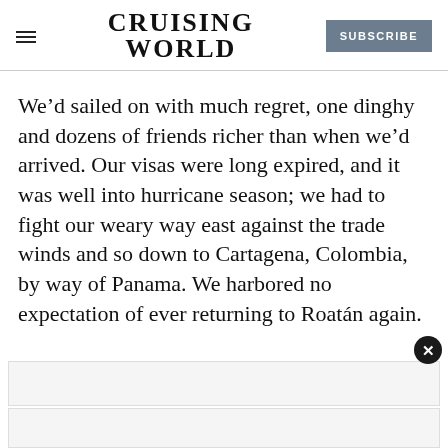CRUISING WORLD — SUBSCRIBE
We’d sailed on with much regret, one dinghy and dozens of friends richer than when we’d arrived. Our visas were long expired, and it was well into hurricane season; we had to fight our weary way east against the trade winds and so down to Cartagena, Colombia, by way of Panama. We harbored no expectation of ever returning to Roatán again.